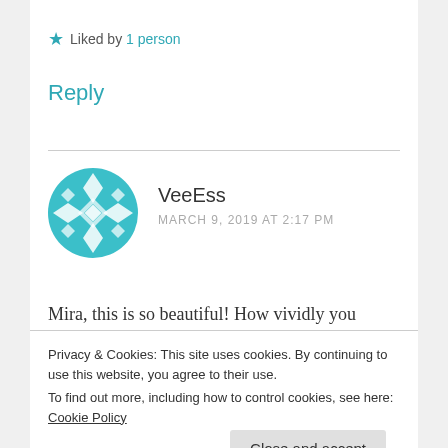★ Liked by 1 person
Reply
[Figure (illustration): Circular teal avatar with geometric snowflake/diamond pattern for user VeeEss]
VeeEss
MARCH 9, 2019 AT 2:17 PM
Mira, this is so beautiful! How vividly you describe those moments that capture the awkwardness, pain, happiness, longing, dilemma of these two
Privacy & Cookies: This site uses cookies. By continuing to use this website, you agree to their use.
To find out more, including how to control cookies, see here: Cookie Policy
Close and accept